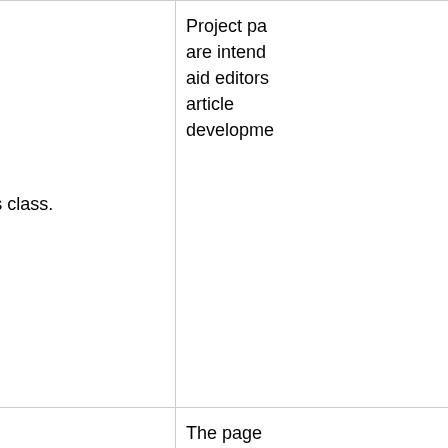| Class | Description | Notes |
| --- | --- | --- |
| Project | All WikiProject-related pages fall under this class. | Project pages are intended to aid editors in article development. |
| Redirect | Any redirect falls under this class. | The page redirects to another article with a similar name, related topic or that has been merged with the original article at that location. |
| (partial) |  | Different types of templates... |